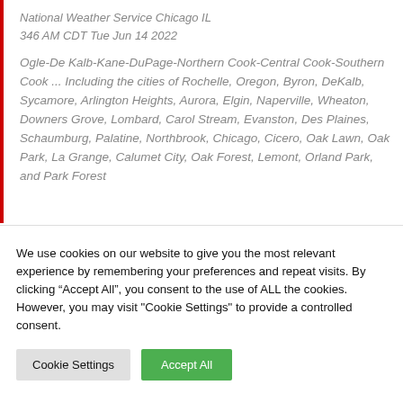National Weather Service Chicago IL
346 AM CDT Tue Jun 14 2022
Ogle-De Kalb-Kane-DuPage-Northern Cook-Central Cook-Southern Cook ... Including the cities of Rochelle, Oregon, Byron, DeKalb, Sycamore, Arlington Heights, Aurora, Elgin, Naperville, Wheaton, Downers Grove, Lombard, Carol Stream, Evanston, Des Plaines, Schaumburg, Palatine, Northbrook, Chicago, Cicero, Oak Lawn, Oak Park, La Grange, Calumet City, Oak Forest, Lemont, Orland Park, and Park Forest
We use cookies on our website to give you the most relevant experience by remembering your preferences and repeat visits. By clicking “Accept All”, you consent to the use of ALL the cookies. However, you may visit "Cookie Settings" to provide a controlled consent.